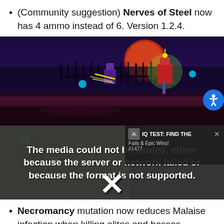(Community suggestion) Nerves of Steel now has 4 ammo instead of 6. Version 1.2.4.
[Figure (screenshot): Dead Cells game screenshot showing a character fighting an enemy in a dark graveyard/cemetery setting with a red moon in the background]
[Figure (screenshot): Media error overlay displaying 'The media could not be loaded, either because the server or network failed or because the format is not supported.' with an ad overlay showing 'IQ TEST: FIND THE Fails & Epic Wins! #1477' and a large X close button]
Necromancy mutation now reduces Malaise infection when killing elites and bosses. Version 1.2.4.